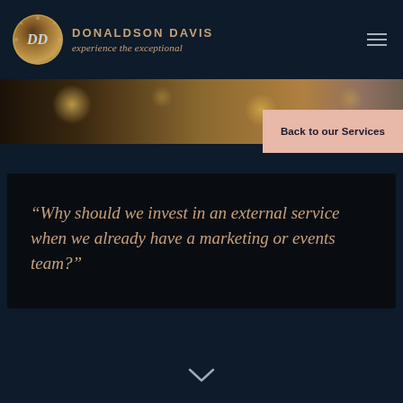DONALDSON DAVIS — experience the exceptional
[Figure (screenshot): Decorative hero background image strip — blurred amber/golden bokeh lights on dark background]
Back to our Services
“Why should we invest in an external service when we already have a marketing or events team?”